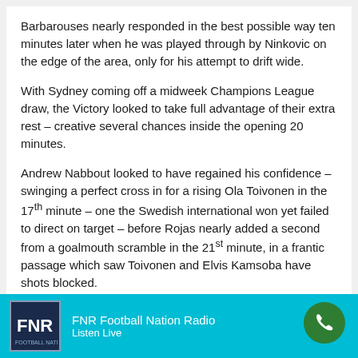Barbarouses nearly responded in the best possible way ten minutes later when he was played through by Ninkovic on the edge of the area, only for his attempt to drift wide.
With Sydney coming off a midweek Champions League draw, the Victory looked to take full advantage of their extra rest – creative several chances inside the opening 20 minutes.
Andrew Nabbout looked to have regained his confidence – swinging a perfect cross in for a rising Ola Toivonen in the 17th minute – one the Swedish international won yet failed to direct on target – before Rojas nearly added a second from a goalmouth scramble in the 21st minute, in a frantic passage which saw Toivonen and Elvis Kamsoba have shots blocked.
At the other end Luke Brattan was nearly rewarded for an audacious set-piece attempt when his 30 yard dead ball strike nearly flew into the back of the met after taking a deflect
FNR Football Nation Radio
Listen Live